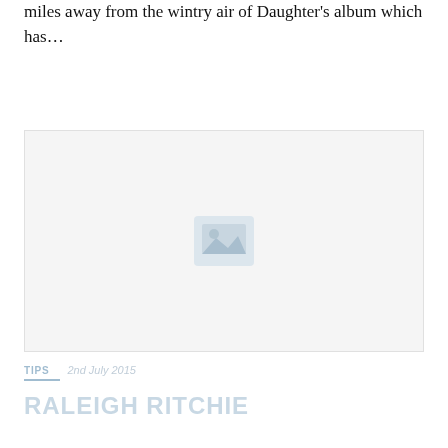miles away from the wintry air of Daughter's album which has…
[Figure (photo): Image placeholder with a light gray background and a small icon in the center representing an image]
TIPS
2nd July 2015
RALEIGH RITCHIE